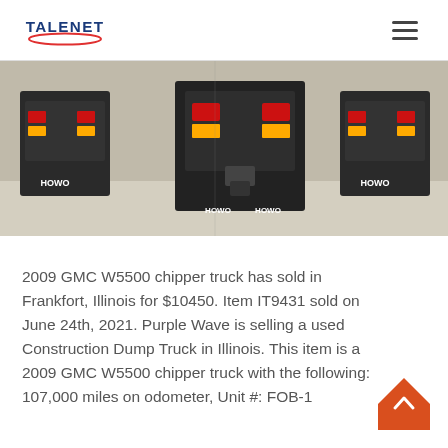TALENET
[Figure (photo): Rear view of two HOWO trucks parked side by side, showing tail lights and rear chassis with 'HOWO' branding visible on each truck.]
2009 GMC W5500 chipper truck has sold in Frankfort, Illinois for $10450. Item IT9431 sold on June 24th, 2021. Purple Wave is selling a used Construction Dump Truck in Illinois. This item is a 2009 GMC W5500 chipper truck with the following: 107,000 miles on odometer, Unit #: FOB-1